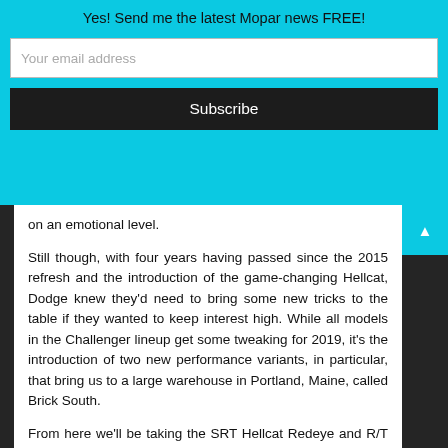Yes! Send me the latest Mopar news FREE!
Your email address
Subscribe
on an emotional level.
Still though, with four years having passed since the 2015 refresh and the introduction of the game-changing Hellcat, Dodge knew they'd need to bring some new tricks to the table if they wanted to keep interest high. While all models in the Challenger lineup get some tweaking for 2019, it's the introduction of two new performance variants, in particular, that bring us to a large warehouse in Portland, Maine, called Brick South.
From here we'll be taking the SRT Hellcat Redeye and R/T Scat Pack Widebody models on a road trip to Tamworth, New Hampshire, to put them through their paces on the Club